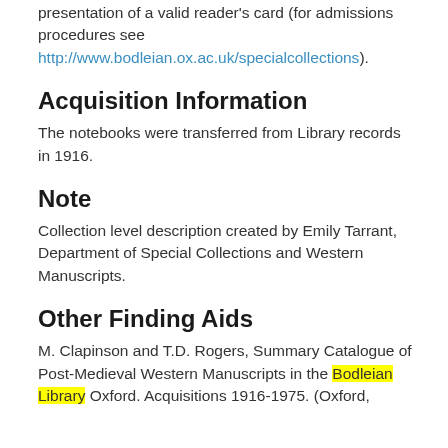presentation of a valid reader's card (for admissions procedures see http://www.bodleian.ox.ac.uk/specialcollections).
Acquisition Information
The notebooks were transferred from Library records in 1916.
Note
Collection level description created by Emily Tarrant, Department of Special Collections and Western Manuscripts.
Other Finding Aids
M. Clapinson and T.D. Rogers, Summary Catalogue of Post-Medieval Western Manuscripts in the Bodleian Library Oxford. Acquisitions 1916-1975. (Oxford,